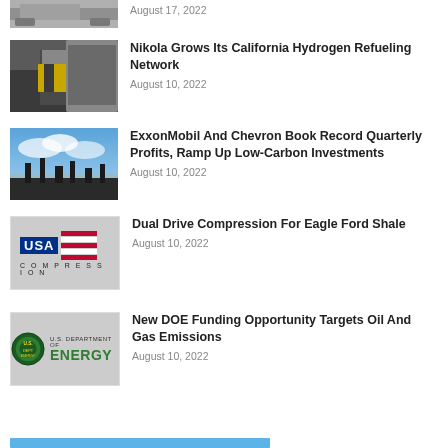[Figure (photo): Partial truck image at top of page (cropped)]
August 17, 2022
[Figure (photo): Worker in yellow vest climbing into truck cab - Nikola story]
Nikola Grows Its California Hydrogen Refueling Network
August 10, 2022
[Figure (photo): Industrial/energy facility at sunset with blue sky - ExxonMobil story]
ExxonMobil And Chevron Book Record Quarterly Profits, Ramp Up Low-Carbon Investments
August 10, 2022
[Figure (logo): USA Compression logo with American flag stripes]
Dual Drive Compression For Eagle Ford Shale
August 10, 2022
[Figure (logo): U.S. Department of Energy logo with seal]
New DOE Funding Opportunity Targets Oil And Gas Emissions
August 10, 2022